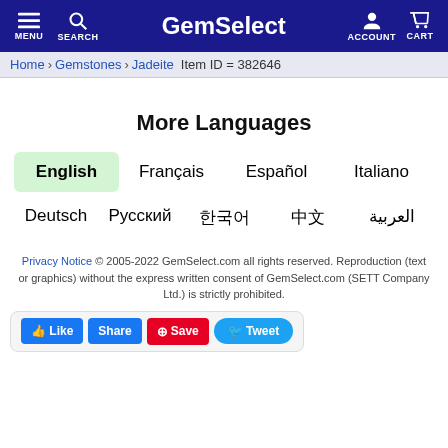GemSelect — MENU SEARCH ACCOUNT CART
Home > Gemstones > Jadeite   Item ID = 382646
More Languages
English   Français   Español   Italiano
Deutsch   Русский   한국어   中文   العربية
Privacy Notice © 2005-2022 GemSelect.com all rights reserved. Reproduction (text or graphics) without the express written consent of GemSelect.com (SETT Company Ltd.) is strictly prohibited.
Like   Share   Save   Tweet